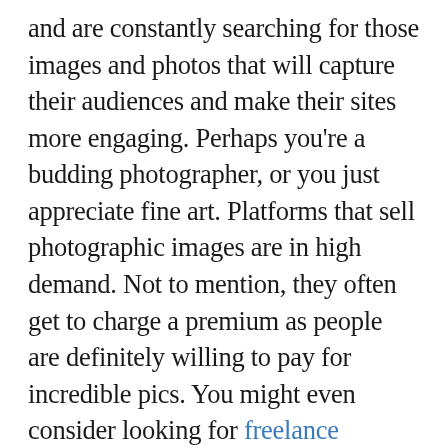and are constantly searching for those images and photos that will capture their audiences and make their sites more engaging. Perhaps you're a budding photographer, or you just appreciate fine art. Platforms that sell photographic images are in high demand. Not to mention, they often get to charge a premium as people are definitely willing to pay for incredible pics. You might even consider looking for freelance photographers in other countries to contribute to your business idea, thus allowing you to offer a world (literally) of gorgeous website-ready photos.